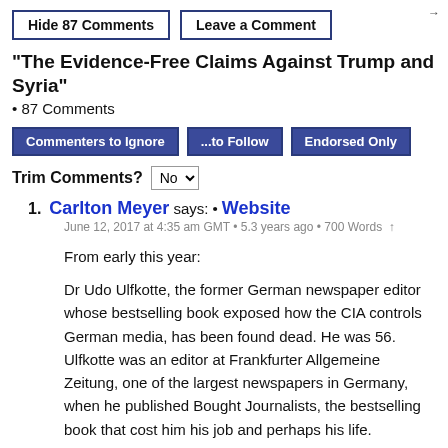Hide 87 Comments | Leave a Comment
"The Evidence-Free Claims Against Trump and Syria"
• 87 Comments
Commenters to Ignore | ...to Follow | Endorsed Only
Trim Comments? No
1. Carlton Meyer says: • Website
June 12, 2017 at 4:35 am GMT • 5.3 years ago • 700 Words ↑
From early this year:
Dr Udo Ulfkotte, the former German newspaper editor whose bestselling book exposed how the CIA controls German media, has been found dead. He was 56. Ulfkotte was an editor at Frankfurter Allgemeine Zeitung, one of the largest newspapers in Germany, when he published Bought Journalists, the bestselling book that cost him his job and perhaps his life.
German media, who were banned from reporting on his work in